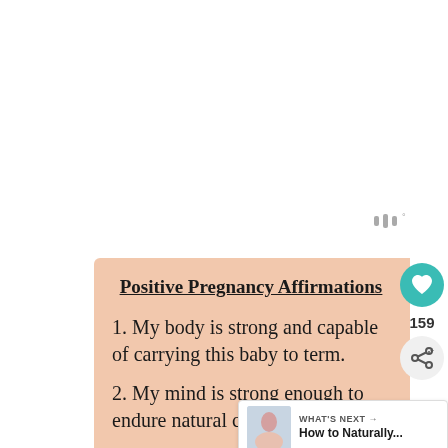[Figure (logo): Small grey icon resembling stylized 'w' or waveform symbol with a degree mark, top right area]
Positive Pregnancy Affirmations
1. My body is strong and capable of carrying this baby to term.
2. My mind is strong enough to endure natural childbirth.
[Figure (illustration): Teal heart icon button showing 159 likes, and a share icon button]
[Figure (photo): What's Next card with a small photo thumbnail of a woman and text 'How to Naturally...']